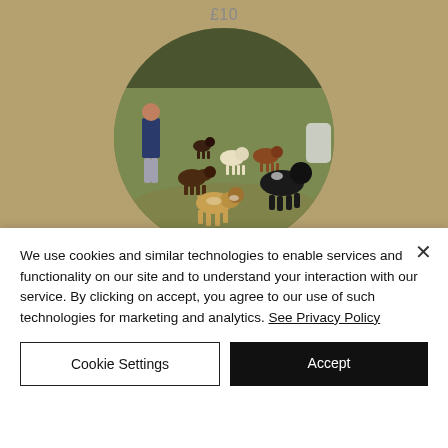£10
[Figure (photo): A circular photo showing a person walking several dogs of various breeds across a grassy field with trees in the background.]
We use cookies and similar technologies to enable services and functionality on our site and to understand your interaction with our service. By clicking on accept, you agree to our use of such technologies for marketing and analytics. See Privacy Policy